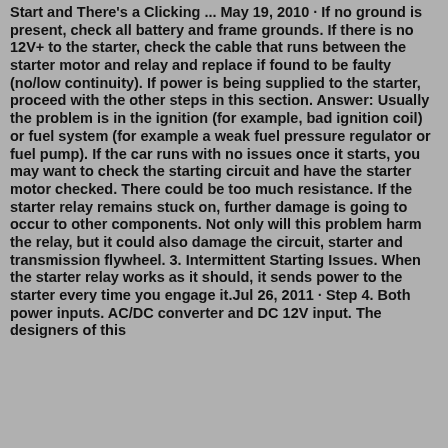Start and There's a Clicking ... May 19, 2010 · If no ground is present, check all battery and frame grounds. If there is no 12V+ to the starter, check the cable that runs between the starter motor and relay and replace if found to be faulty (no/low continuity). If power is being supplied to the starter, proceed with the other steps in this section. Answer: Usually the problem is in the ignition (for example, bad ignition coil) or fuel system (for example a weak fuel pressure regulator or fuel pump). If the car runs with no issues once it starts, you may want to check the starting circuit and have the starter motor checked. There could be too much resistance. If the starter relay remains stuck on, further damage is going to occur to other components. Not only will this problem harm the relay, but it could also damage the circuit, starter and transmission flywheel. 3. Intermittent Starting Issues. When the starter relay works as it should, it sends power to the starter every time you engage it.Jul 26, 2011 · Step 4. Both power inputs. AC/DC converter and DC 12V input. The designers of this